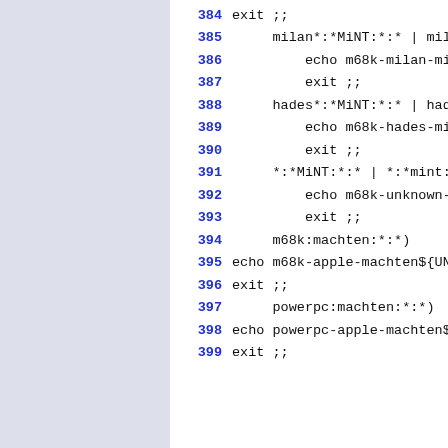384  exit ;;
385      milan*:*MiNT:*:* | milan*
386          echo m68k-milan-mint$
387          exit ;;
388      hades*:*MiNT:*:* | hades*
389          echo m68k-hades-mint$
390          exit ;;
391      *:*MiNT:*:* | *:*mint:*:*
392          echo m68k-unknown-mi
393          exit ;;
394      m68k:machten:*:*)
395  echo m68k-apple-machten${UNA
396  exit ;;
397      powerpc:machten:*:*)
398  echo powerpc-apple-machten${
399  exit ;;